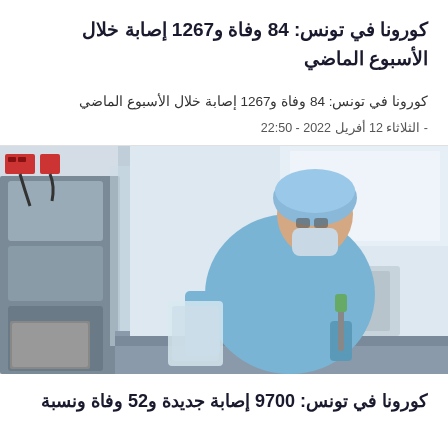كورونا في تونس: 84 وفاة و1267 إصابة خلال الأسبوع الماضي
كورونا في تونس: 84 وفاة و1267 إصابة خلال الأسبوع الماضي
- الثلاثاء 12 أفريل 2022 - 22:50
[Figure (photo): A laboratory technician wearing blue protective gear, hairnet, mask, and gloves, working with laboratory equipment including a pipette at a biosafety cabinet in a medical laboratory.]
كورونا في تونس: 9700 إصابة جديدة و52 وفاة ونسبة